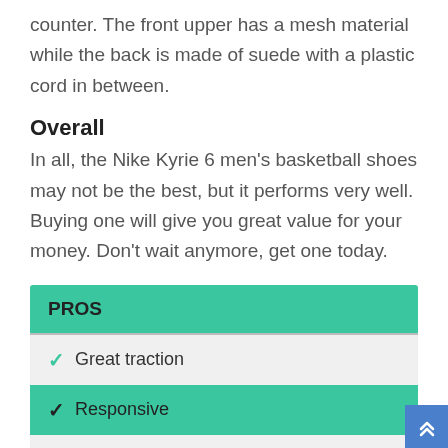counter. The front upper has a mesh material while the back is made of suede with a plastic cord in between.
Overall
In all, the Nike Kyrie 6 men’s basketball shoes may not be the best, but it performs very well. Buying one will give you great value for your money. Don’t wait anymore, get one today.
| PROS |
| --- |
| ✓ Great traction |
| ✓ Responsive |
| ✓ Locked-in support |